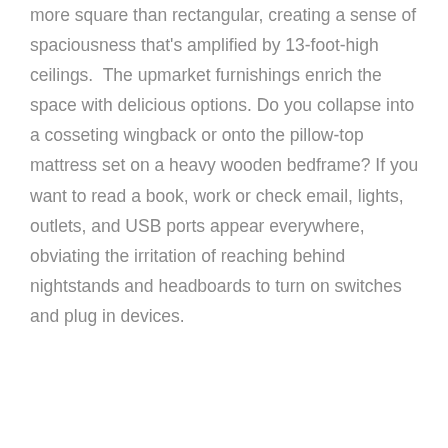more square than rectangular, creating a sense of spaciousness that's amplified by 13-foot-high ceilings.  The upmarket furnishings enrich the space with delicious options. Do you collapse into a cosseting wingback or onto the pillow-top mattress set on a heavy wooden bedframe? If you want to read a book, work or check email, lights, outlets, and USB ports appear everywhere, obviating the irritation of reaching behind nightstands and headboards to turn on switches and plug in devices.